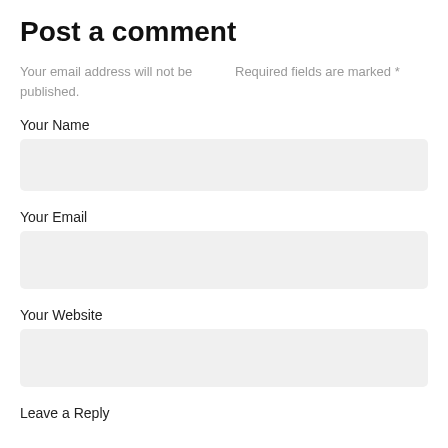Post a comment
Your email address will not be published.
Required fields are marked *
Your Name
Your Email
Your Website
Leave a Reply